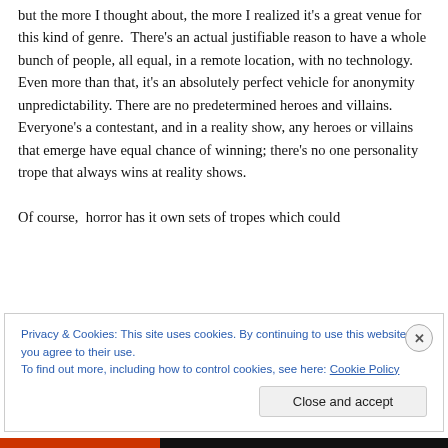but the more I thought about, the more I realized it's a great venue for this kind of genre.  There's an actual justifiable reason to have a whole bunch of people, all equal, in a remote location, with no technology.  Even more than that, it's an absolutely perfect vehicle for anonymity unpredictability. There are no predetermined heroes and villains. Everyone's a contestant, and in a reality show, any heroes or villains that emerge have equal chance of winning; there's no one personality trope that always wins at reality shows.

Of course, horror has it own sets of tropes which could
Privacy & Cookies: This site uses cookies. By continuing to use this website, you agree to their use.
To find out more, including how to control cookies, see here: Cookie Policy